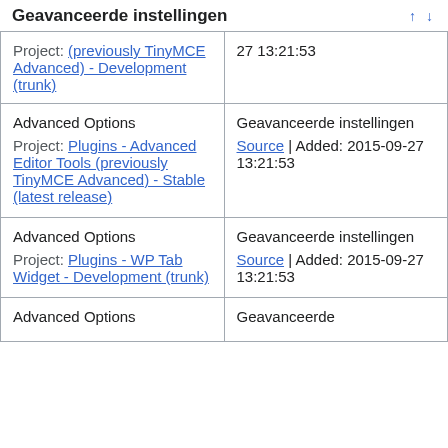Geavanceerde instellingen
| (source/project) | (translation) |
| --- | --- |
| (previously TinyMCE Advanced) - Development (trunk) | 27 13:21:53 |
| Advanced Options
Project: Plugins - Advanced Editor Tools (previously TinyMCE Advanced) - Stable (latest release) | Geavanceerde instellingen
Source | Added: 2015-09-27 13:21:53 |
| Advanced Options
Project: Plugins - WP Tab Widget - Development (trunk) | Geavanceerde instellingen
Source | Added: 2015-09-27 13:21:53 |
| Advanced Options | Geavanceerde |